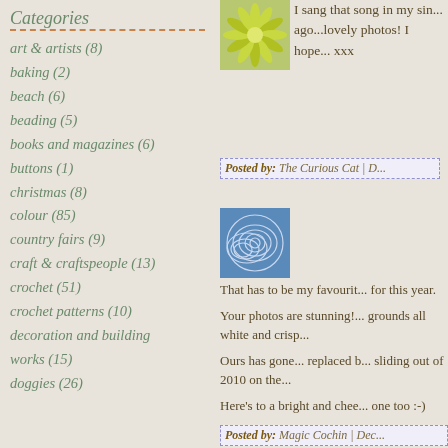Categories
art & artists (8)
baking (2)
beach (6)
beading (5)
books and magazines (6)
buttons (1)
christmas (8)
colour (85)
country fairs (9)
craft & craftspeople (13)
crochet (51)
crochet patterns (10)
decoration and building works (15)
doggies (26)
[Figure (photo): Green/yellow flower-like graphic thumbnail]
I sang that song in my sin... ago...lovely photos! I hope... xxx
Posted by: The Curious Cat | D...
[Figure (photo): Blue geometric pattern thumbnail]
That has to be my favourit... for this year.

Your photos are stunning!... grounds all white and crisp...

Ours has gone... replaced b... sliding out of 2010 on the...

Here's to a bright and chee... one too :-)

Celia

x
Posted by: Magic Cochin | Dec...